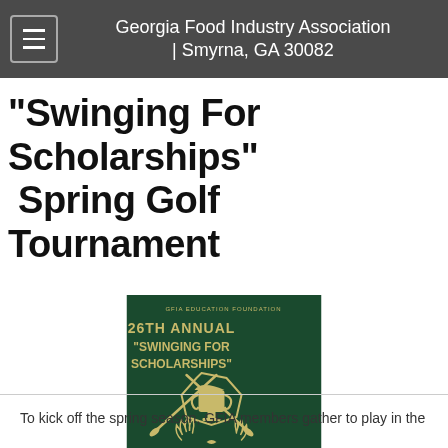Georgia Food Industry Association | Smyrna, GA 30082
"Swinging For Scholarships" Spring Golf Tournament
[Figure (illustration): 26th Annual 'Swinging For Scholarships' golf tournament logo on dark green background with crossed golf clubs and trophy emblem with laurel wreath]
To kick off the spring season, GFIA members gather to play in the